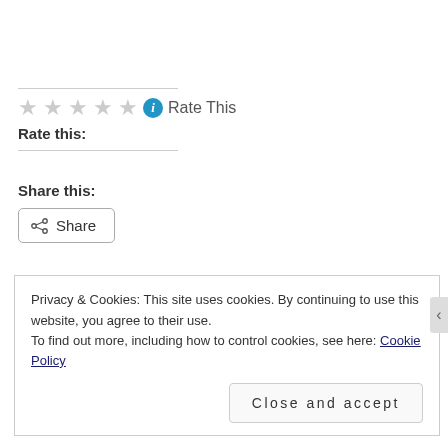Rate this: ☆☆☆☆☆ ℹ Rate This
Share this:
[Figure (other): Share button with share icon]
Loading...
Privacy & Cookies: This site uses cookies. By continuing to use this website, you agree to their use. To find out more, including how to control cookies, see here: Cookie Policy
Close and accept